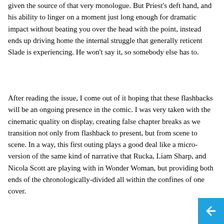given the source of that very monologue. But Priest's deft hand, and his ability to linger on a moment just long enough for dramatic impact without beating you over the head with the point, instead ends up driving home the internal struggle that generally reticent Slade is experiencing. He won't say it, so somebody else has to.
After reading the issue, I come out of it hoping that these flashbacks will be an ongoing presence in the comic. I was very taken with the cinematic quality on display, creating false chapter breaks as we transition not only from flashback to present, but from scene to scene. In a way, this first outing plays a good deal like a micro-version of the same kind of narrative that Rucka, Liam Sharp, and Nicola Scott are playing with in Wonder Woman, but providing both ends of the chronologically-divided all within the confines of one cover.